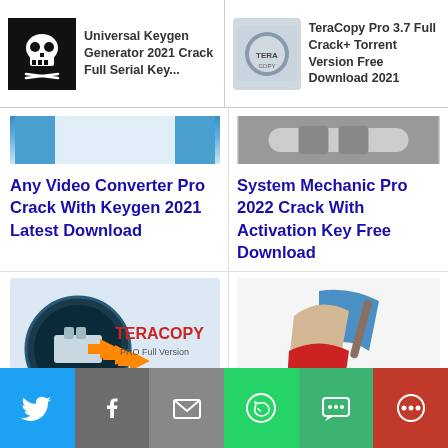Universal Keygen Generator 2021 Crack Full Serial Key...
TeraCopy Pro 3.7 Full Crack+ Torrent Version Free Download 2021
Any Video Converter Pro Crack With Keygen 2021 Latest Download
System Mechanic Pro 2022 Crack With Activation Key Free Download
[Figure (screenshot): TeraCopy PRO Full Version logo with USB flash drive graphic and orange arrows]
[Figure (screenshot): CCleaner logo - broom with blue, beige and red design]
TeraCopy Pro 3.7 Full Crack+ Torrent Version Free Download 2021
CCleaner Pro Crack 2021 Full Free Download [Latest